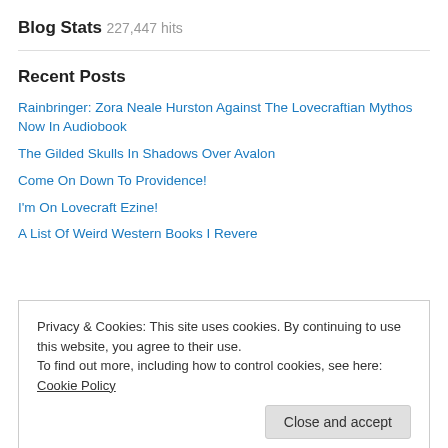Blog Stats
227,447 hits
Recent Posts
Rainbringer: Zora Neale Hurston Against The Lovecraftian Mythos Now In Audiobook
The Gilded Skulls In Shadows Over Avalon
Come On Down To Providence!
I'm On Lovecraft Ezine!
A List Of Weird Western Books I Revere
Privacy & Cookies: This site uses cookies. By continuing to use this website, you agree to their use.
To find out more, including how to control cookies, see here: Cookie Policy
Close and accept
Author Lincoln Crisler's Blog